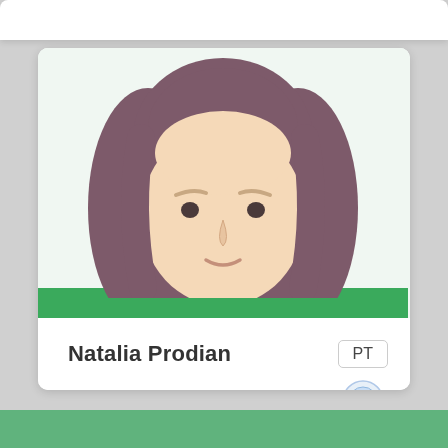[Figure (illustration): Cartoon avatar of a woman with brown hair wearing a green top, shown from shoulders up on a light green background]
Natalia Prodian
PT
nathdheeana@gmail.-
081284419615
[Figure (logo): Small circular logo/badge icon in blue and gold]